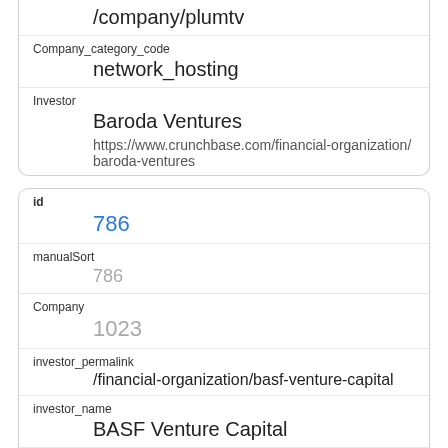| /company/plumtv |
| Company_category_code | network_hosting |
| Investor | Baroda Ventures | https://www.crunchbase.com/financial-organization/baroda-ventures |
| id | 786 |
| manualSort | 786 |
| Company | 1023 |
| investor_permalink | /financial-organization/basf-venture-capital |
| investor_name | BASF Venture Capital |
| investor_category_code |  |